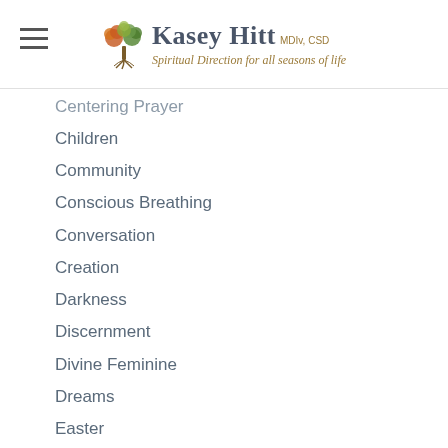Kasey Hitt MDIv, CSD — Spiritual Direction for all seasons of life
Centering Prayer
Children
Community
Conscious Breathing
Conversation
Creation
Darkness
Discernment
Divine Feminine
Dreams
Easter
Epiphany
Faith Development
Freedom
Gratitude
Holy Spirit
Holy Week
Images Of God (partial)